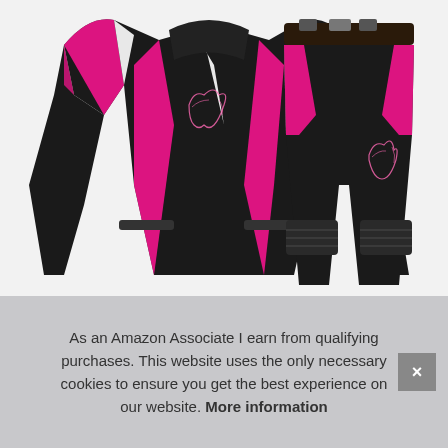[Figure (photo): Women's motorcycle jacket and pants set in black, pink, and white. The jacket (left) features pink and white accent panels, pink floral embroidery on the chest, and a high collar. The pants (right) are shown from the front with a belt, white and pink accents on the hips, pink floral embroidery on the thigh, and ribbed knee panels.]
As an Amazon Associate I earn from qualifying purchases. This website uses the only necessary cookies to ensure you get the best experience on our website. More information